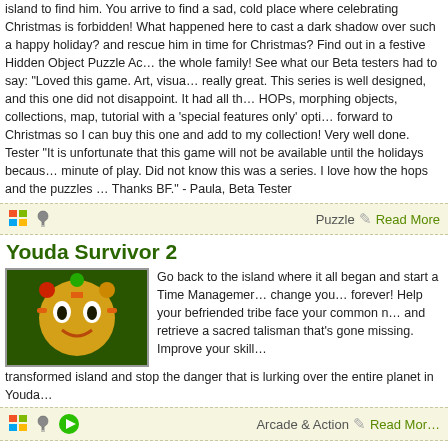island to find him. You arrive to find a sad, cold place where celebrating Christmas is forbidden! What happened here to cast a dark shadow over such a happy holiday? and rescue him in time for Christmas? Find out in a festive Hidden Object Puzzle Adventure for the whole family! See what our Beta testers had to say: "Loved this game. Art, visuals really great. This series is well designed, and this one did not disappoint. It had all the HOPs, morphing objects, collections, map, tutorial with a 'special features only' option. Looking forward to Christmas so I can buy this one and add to my collection! Very well done." - Beta Tester "It is unfortunate that this game will not be available until the holidays because I loved every minute of play. Did not know this was a series. I love how the hops and the puzzles are designed. Thanks BF." - Paula, Beta Tester
Puzzle | Read More
Youda Survivor 2
Go back to the island where it all began and start a Time Management adventure that will change you… forever! Help your befriended tribe face your common new enemy, cooperate and retrieve a sacred talisman that's gone missing. Improve your skills as you explore a completely transformed island and stop the danger that is lurking over the entire planet in Youda Survivor 2!
Arcade & Action | Read More
Youda Survivor
Ever dreamed of living on your own little island, being a real Robinson Crusoe? Now is your chance! In Youda Survivor you end up on a hilarious and mysterious island with only the most minimal tools to survive. What will it take to get you of the